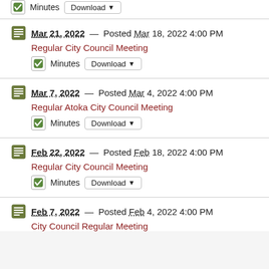Minutes  Download ▼  (partial top)
Mar 21, 2022 — Posted Mar 18, 2022 4:00 PM  Regular City Council Meeting  Minutes  Download ▼
Mar 7, 2022 — Posted Mar 4, 2022 4:00 PM  Regular Atoka City Council Meeting  Minutes  Download ▼
Feb 22, 2022 — Posted Feb 18, 2022 4:00 PM  Regular City Council Meeting  Minutes  Download ▼
Feb 7, 2022 — Posted Feb 4, 2022 4:00 PM  City Council Regular Meeting